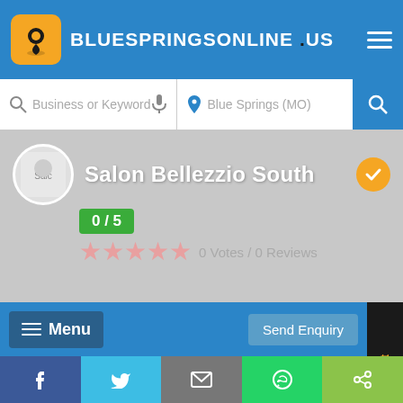BLUESPRINGSONLINE .US
Business or Keyword   Blue Springs (MO)
Salon Bellezzio South
0 / 5
0 Votes / 0 Reviews
Menu
Send Enquiry
We are different
f  Twitter  Email  WhatsApp  Share